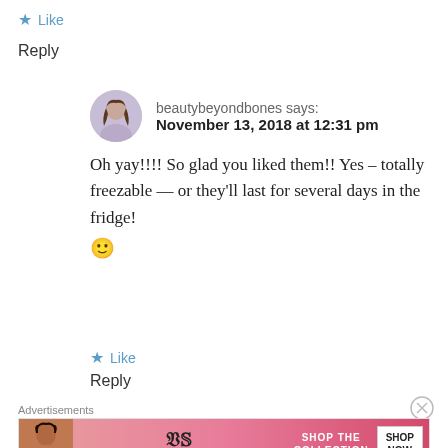★ Like
Reply
beautybeyondbones says:
November 13, 2018 at 12:31 pm
Oh yay!!!! So glad you liked them!! Yes – totally freezable — or they'll last for several days in the fridge! 🙂
★ Like
Reply
Advertisements
[Figure (other): Victoria's Secret advertisement banner with model, logo, SHOP THE COLLECTION text and SHOP NOW button]